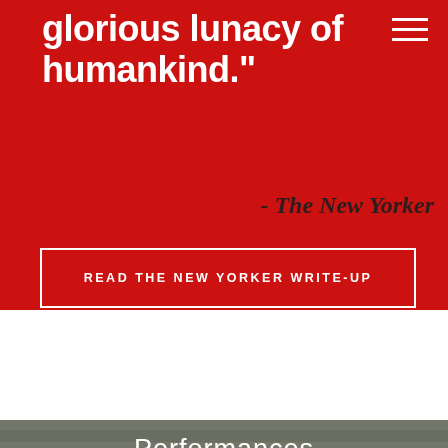glorious lunacy of humankind."
- The New Yorker
READ THE NEW YORKER WRITE-UP
Performances
2